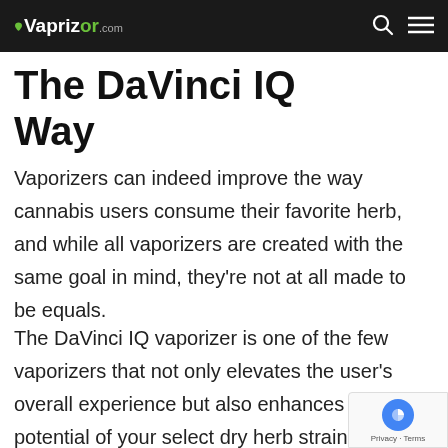Vaporizor.com
The DaVinci IQ Way
Vaporizers can indeed improve the way cannabis users consume their favorite herb, and while all vaporizers are created with the same goal in mind, they're not at all made to be equals.
The DaVinci IQ vaporizer is one of the few vaporizers that not only elevates the user's overall experience but also enhances the potential of your select dry herb strains. In vaping cannabis, the